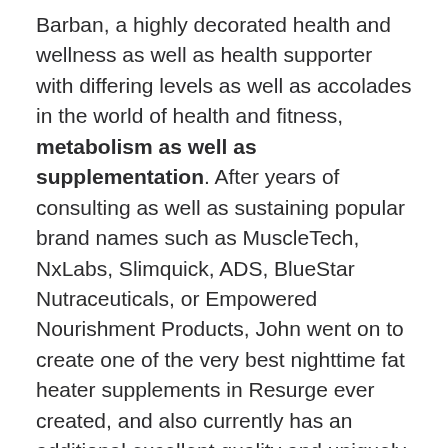Barban, a highly decorated health and wellness as well as health supporter with differing levels as well as accolades in the world of health and fitness, metabolism as well as supplementation. After years of consulting as well as sustaining popular brand names such as MuscleTech, NxLabs, Slimquick, ADS, BlueStar Nutraceuticals, or Empowered Nourishment Products, John went on to create one of the very best nighttime fat heater supplements in Resurge ever created, and also currently has an additional excellent quality and uniquely located product in the JavaBurn coffee improving booster supplement.
What Is The Function Of